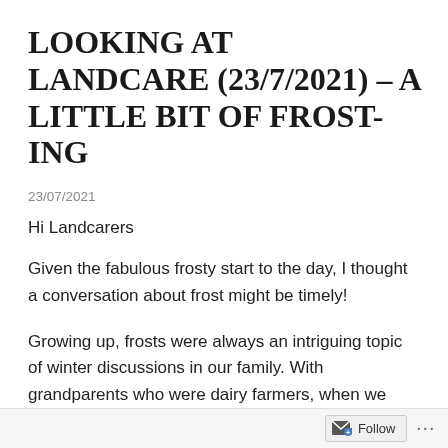LOOKING AT LANDCARE (23/7/2021) – A LITTLE BIT OF FROST-ING
23/07/2021
Hi Landcarers
Given the fabulous frosty start to the day, I thought a conversation about frost might be timely!
Growing up, frosts were always an intriguing topic of winter discussions in our family. With grandparents who were dairy farmers, when we
Follow